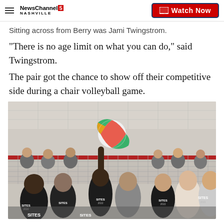NewsChannel 5 NASHVILLE | Watch Now
Sitting across from Berry was Jami Twingstrom.
"There is no age limit on what you can do," said Twingstrom.
The pair got the chance to show off their competitive side during a chair volleyball game.
[Figure (photo): Group of students in black SITES 2022 t-shirts sitting in chairs on either side of a volleyball net, with a colorful beach ball in the air above the net during a chair volleyball game.]